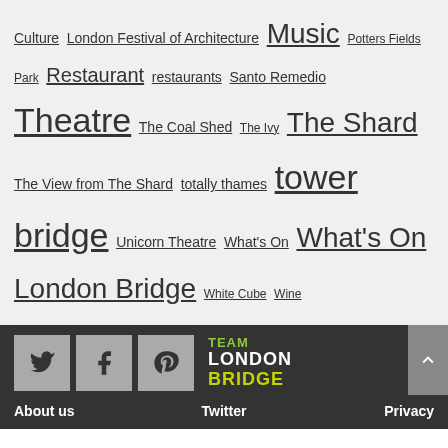Culture London Festival of Architecture Music Potters Fields Park Restaurant restaurants Santo Remedio Theatre The Coal Shed The Ivy The Shard The View from The Shard totally thames tower bridge Unicorn Theatre What's On What's On London Bridge White Cube Wine
[Figure (screenshot): Footer bar with social media icons (Twitter, Facebook, Pinterest), Team London Bridge logo, and scroll-to-top button]
About us   Twitter   Privacy
We use cookies on our website to give you the most relevant experience by remembering your preferences and repeat visits. By clicking "Accept All", you consent to the use of ALL the cookies. However, you may visit "Cookie Settings" to provide a controlled consent.
Cookie Settings   Accept All